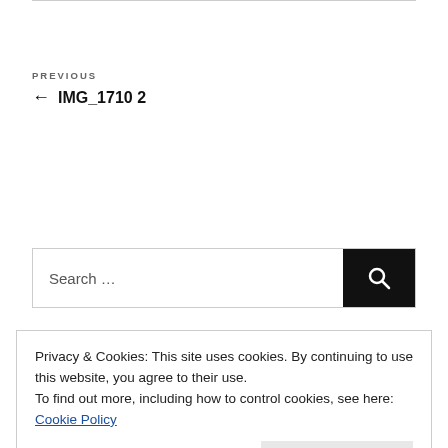PREVIOUS
← IMG_1710 2
Search …
Privacy & Cookies: This site uses cookies. By continuing to use this website, you agree to their use.
To find out more, including how to control cookies, see here: Cookie Policy
Close and accept